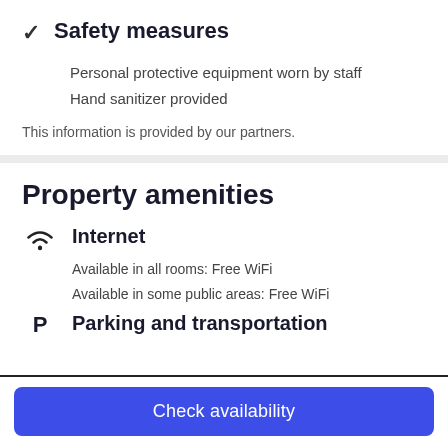Safety measures
Personal protective equipment worn by staff
Hand sanitizer provided
This information is provided by our partners.
Property amenities
Internet
Available in all rooms: Free WiFi
Available in some public areas: Free WiFi
Parking and transportation
Check availability